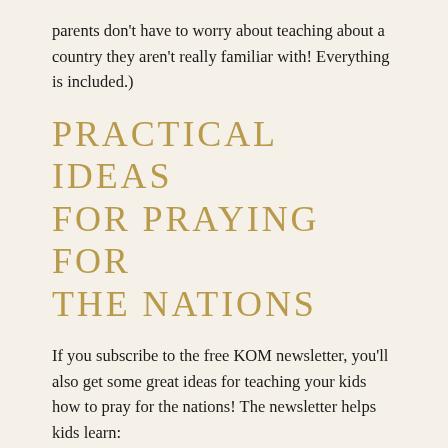parents don't have to worry about teaching about a country they aren't really familiar with! Everything is included.)
PRACTICAL IDEAS FOR PRAYING FOR THE NATIONS
If you subscribe to the free KOM newsletter, you'll also get some great ideas for teaching your kids how to pray for the nations! The newsletter helps kids learn:
HOW TO PRAY FOR MISSIONARY FAMILIES
ABOUT MISSIONARY KIDS (MKS)